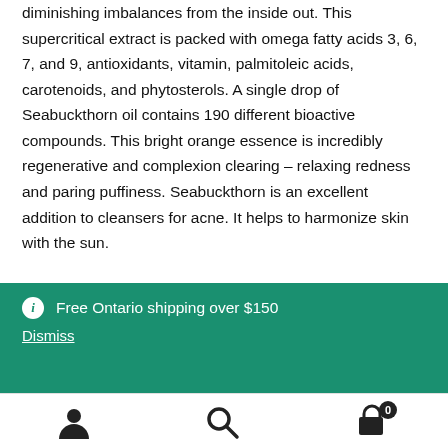diminishing imbalances from the inside out. This supercritical extract is packed with omega fatty acids 3, 6, 7, and 9, antioxidants, vitamin, palmitoleic acids, carotenoids, and phytosterols. A single drop of Seabuckthorn oil contains 190 different bioactive compounds. This bright orange essence is incredibly regenerative and complexion clearing – relaxing redness and paring puffiness. Seabuckthorn is an excellent addition to cleansers for acne. It helps to harmonize skin with the sun.

Lavender – A gentle-yet-powerful skin tonic that is restorative and calming. It relaxes redness and cools heat. Lavender can be
Free Ontario shipping over $150
Dismiss
[Figure (other): Bottom navigation bar with user account icon, search icon, and shopping cart icon with badge showing 0]